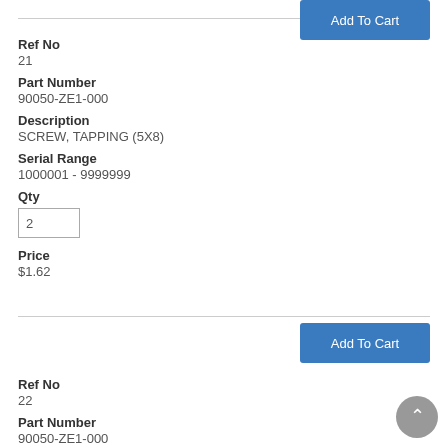Add To Cart
Ref No
21
Part Number
90050-ZE1-000
Description
SCREW, TAPPING (5X8)
Serial Range
1000001 - 9999999
Qty
2
Price
$1.62
Add To Cart
Ref No
22
Part Number
90050-ZE1-000